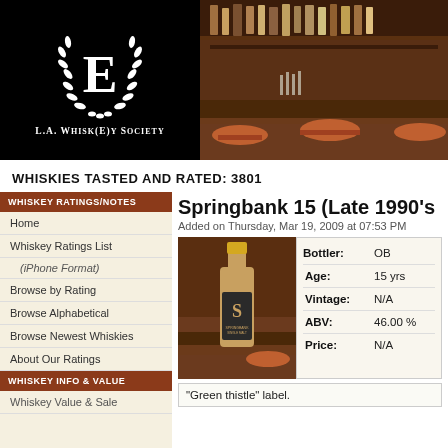[Figure (logo): L.A. Whisk(e)y Society logo: black background with large E in laurel wreath, text below reading L.A. Whisk(e)y Society]
[Figure (photo): Bar interior photo showing wooden bar with bottles on shelves and orange/brown bar stools]
WHISKIES TASTED AND RATED: 3801
WHISKEY RATINGS/NOTES
Home
Whiskey Ratings List
(iPhone Format)
Browse by Rating
Browse Alphabetical
Browse Newest Whiskies
About Our Ratings
WHISKEY INFO & VALUE
Whiskey Value & Sale
Springbank 15 (Late 1990's
Added on Thursday, Mar 19, 2009 at 07:53 PM
[Figure (photo): Photo of Springbank single malt whisky bottle with gold cap and distinctive S label]
| Field | Value |
| --- | --- |
| Bottler: | OB |
| Age: | 15 yrs |
| Vintage: | N/A |
| ABV: | 46.00 % |
| Price: | N/A |
"Green thistle" label.